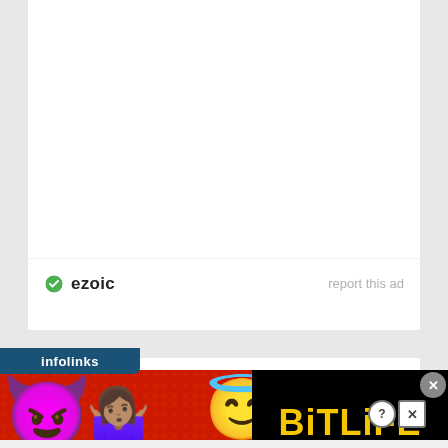[Figure (screenshot): Ezoic ad placeholder with ezoic logo and 'report this ad' text]
CATEGORIES
[Figure (screenshot): Select Category dropdown box with chevron]
[Figure (screenshot): Infolinks banner advertisement for BitLife game with emoji characters, red dotted background, and 'REAL CHOICES' text]